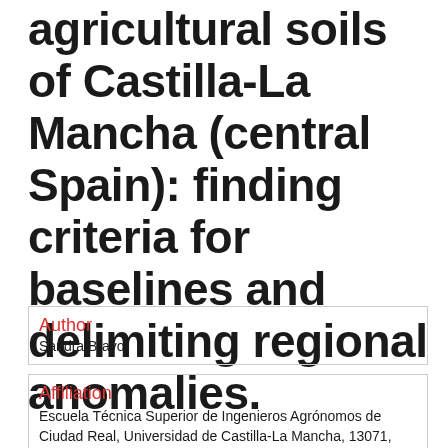agricultural soils of Castilla-La Mancha (central Spain): finding criteria for baselines and delimiting regional anomalies.
Author
Sandra Bravo
Affiliation
Escuela Técnica Superior de Ingenieros Agrónomos de Ciudad Real, Universidad de Castilla-La Mancha, 13071, Ciudad Real,